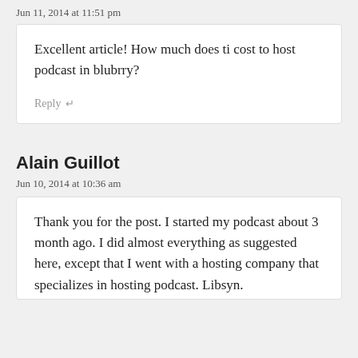Jun 11, 2014 at 11:51 pm
Excellent article! How much does ti cost to host podcast in blubrry?
Reply ↵
Alain Guillot
Jun 10, 2014 at 10:36 am
Thank you for the post. I started my podcast about 3 month ago. I did almost everything as suggested here, except that I went with a hosting company that specializes in hosting podcast. Libsyn.